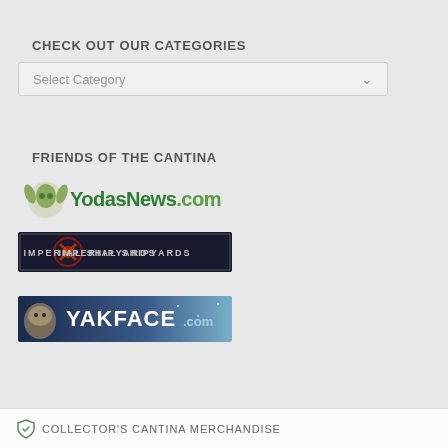CHECK OUT OUR CATEGORIES
Select Category
FRIENDS OF THE CANTINA
[Figure (logo): YodasNews.com logo with Yoda illustration and green stylized text]
[Figure (logo): Imperial Shipyards logo with dark background and red/orange graphic]
[Figure (logo): YAKFACE.com logo with blue space background and large white text]
COLLECTOR'S CANTINA MERCHANDISE